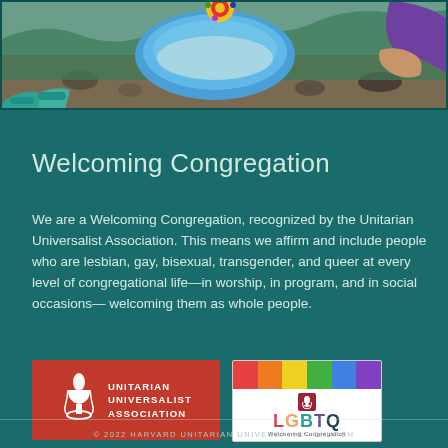[Figure (photo): Top photo of children/people outdoors with a blue plate or bowl, rocks and foliage visible, partial view of colorful decoration and purple sleeve]
Welcoming Congregation
We are a Welcoming Congregation, recognized by the Unitarian Universalist Association. This means we affirm and include people who are lesbian, gay, bisexual, transgender, and queer at every level of congregational life—in worship, in program, and in social occasions— welcoming them as whole people.
[Figure (logo): Unitarian Universalist Association logo — red background with white chalice/flame symbol and text UNITARIAN UNIVERSALIST ASSOCIATION]
[Figure (logo): LGBTQ Welcoming Congregation logo — rainbow stripes at top, UU chalice icon in red box, large LGBTQ letters in rainbow colors, text Welcoming Congregation]
© 2022 HARVARD UNITARIAN UNIVERSALIST CHURCH